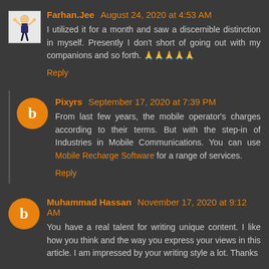Farhan.Jee August 24, 2020 at 4:53 AM
I utilized it for a month and saw a discernible distinction in myself. Presently I don't short of going out with my companions and so forth. 🙏🙏🙏🙏🙏
Reply
Pixyrs September 17, 2020 at 7:39 PM
From last few years, the mobile operator's charges according to their terms. But with the step-in of Industries in Mobile Communications. You can use Mobile Recharge Software for a range of services.
Reply
Muhammad Hassan November 17, 2020 at 9:12 AM
You have a real talent for writing unique content. I like how you think and the way you express your views in this article. I am impressed by your writing style a lot. Thanks